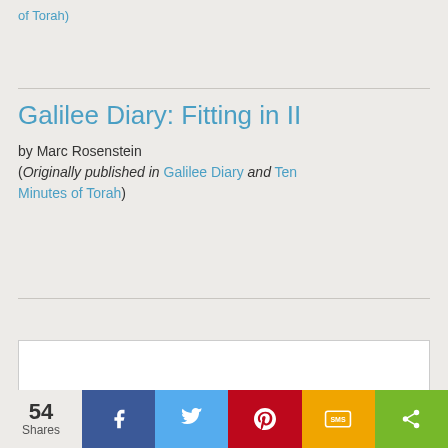of Torah)
Galilee Diary: Fitting in II
by Marc Rosenstein
(Originally published in Galilee Diary and Ten Minutes of Torah)
[Figure (other): White content box placeholder]
54 Shares | Facebook | Twitter | Pinterest | SMS | Share